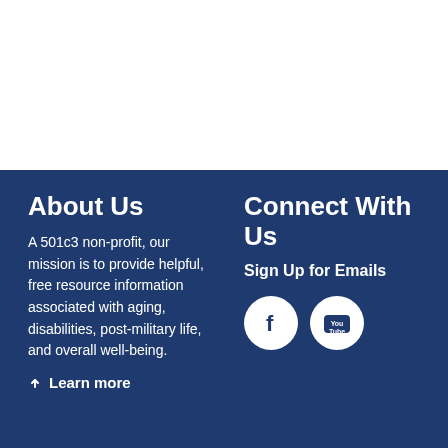[Figure (other): White background area at top of page]
About Us
A 501c3 non-profit, our mission is to provide helpful, free resource information associated with aging, disabilities, post-military life, and overall well-being.
Learn more
Connect With Us
Sign Up for Emails
[Figure (logo): Facebook and YouTube social media icons as white circles on dark blue background]